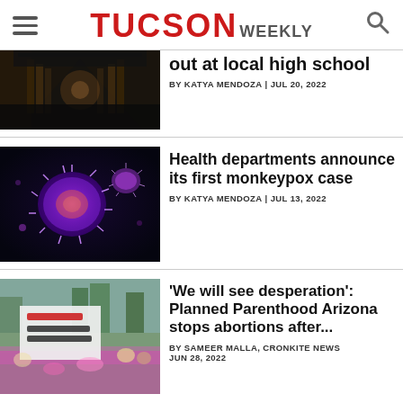TUCSON WEEKLY
out at local high school
BY KATYA MENDOZA | JUL 20, 2022
[Figure (photo): Burned hallway of a high school with charred lockers and ceiling]
Health departments announce its first monkeypox case
BY KATYA MENDOZA | JUL 13, 2022
[Figure (photo): Digital illustration of a monkeypox virus particle glowing purple on dark blue background]
'We will see desperation': Planned Parenthood Arizona stops abortions after...
BY SAMEER MALLA, CRONKITE NEWS
JUN 28, 2022
[Figure (photo): Protesters holding 'My Body My Choice' signs at a rally]